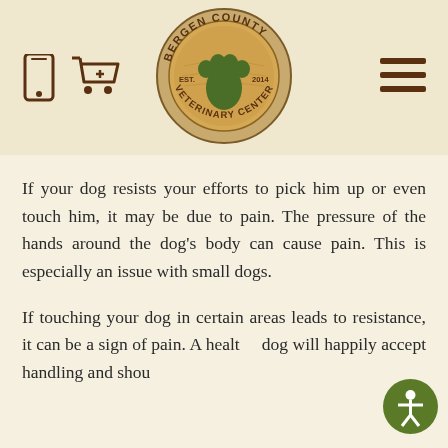[Figure (logo): Bergen County Veterinary Center circular logo with paw print on wood-grain background, EST. 2014]
If your dog resists your efforts to pick him up or even touch him, it may be due to pain. The pressure of the hands around the dog's body can cause pain. This is especially an issue with small dogs.
If touching your dog in certain areas leads to resistance, it can be a sign of pain. A healthy dog will happily accept handling and should